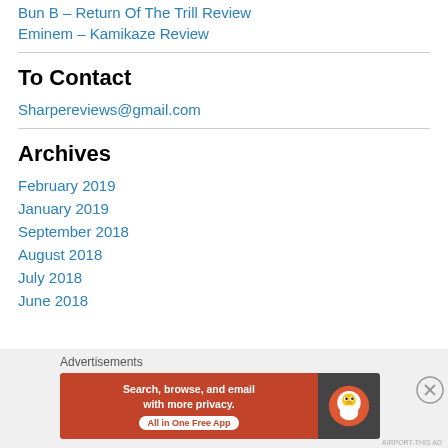Bun B – Return Of The Trill Review
Eminem – Kamikaze Review
To Contact
Sharpereviews@gmail.com
Archives
February 2019
January 2019
September 2018
August 2018
July 2018
June 2018
[Figure (screenshot): DuckDuckGo advertisement banner: Search, browse, and email with more privacy. All in One Free App.]